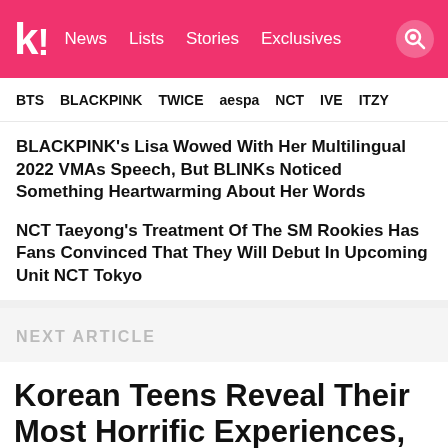kl! News Lists Stories Exclusives
BTS BLACKPINK TWICE aespa NCT IVE ITZY
BLACKPINK’s Lisa Wowed With Her Multilingual 2022 VMAs Speech, But BLINKs Noticed Something Heartwarming About Her Words
NCT Taeyong’s Treatment Of The SM Rookies Has Fans Convinced That They Will Debut In Upcoming Unit NCT Tokyo
NEXT ARTICLE
Korean Teens Reveal Their Most Horrific Experiences, That Traumatized Them For Life